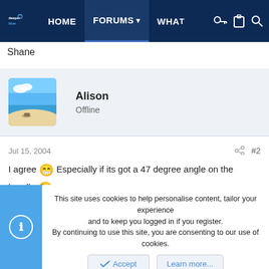DeeperBlue - HOME | FORUMS | WHAT
Shane
Alison
Offline
Jul 15, 2004  #2
I agree 😁 Especially if its got a 47 degree angle on the handle 😉
Happy Birthday Rob
This site uses cookies to help personalise content, tailor your experience and to keep you logged in if you register.
By continuing to use this site, you are consenting to our use of cookies.